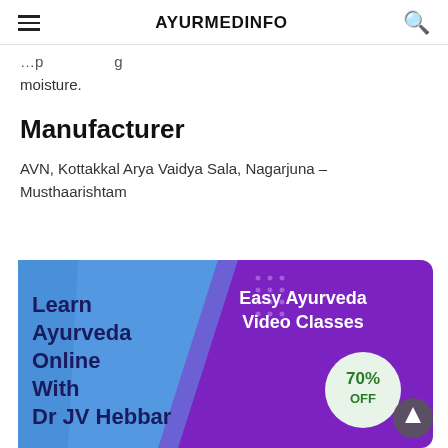AYURMEDINFO
moisture.
Manufacturer
AVN, Kottakkal Arya Vaidya Sala, Nagarjuna – Musthaarishtam
[Figure (illustration): Advertisement banner for Easy Ayurveda Video Classes with Dr JV Hebbar. Purple background with blue swoosh, text 'Learn Ayurveda Online With Dr JV Hebbar', 'Easy Ayurveda Video Classes', '70% OFF' in a circle.]